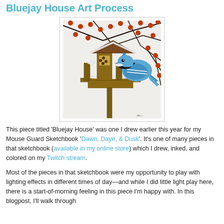Bluejay House Art Process
[Figure (illustration): Illustration of a bluejay bird perched on a snow-covered wooden bird feeder house, with red berry branches in the background. The artwork is detailed pen and colored ink.]
This piece titled 'Bluejay House' was one I drew earlier this year for my Mouse Guard Sketchbook 'Dawn, Daye, & Dusk'. It's one of many pieces in that sketchbook (available in my online store) which I drew, inked, and colored on my Twitch stream.
Most of the pieces in that sketchbook were my opportunity to play with lighting effects in different times of day—and while I did little light play here, there is a start-of-morning feeling in this piece I'm happy with. In this blogpost, I'll walk through